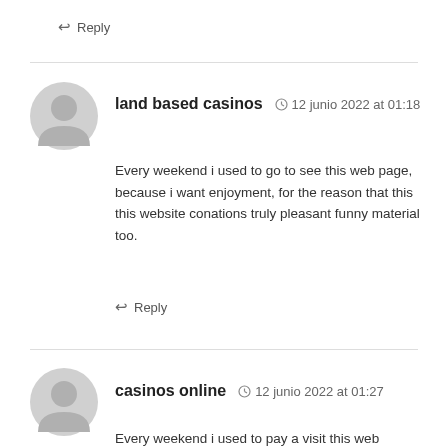↩ Reply
land based casinos  🕐 12 junio 2022 at 01:18
Every weekend i used to go to see this web page, because i want enjoyment, for the reason that this this website conations truly pleasant funny material too.
↩ Reply
casinos online  🕐 12 junio 2022 at 01:27
Every weekend i used to pay a visit this web